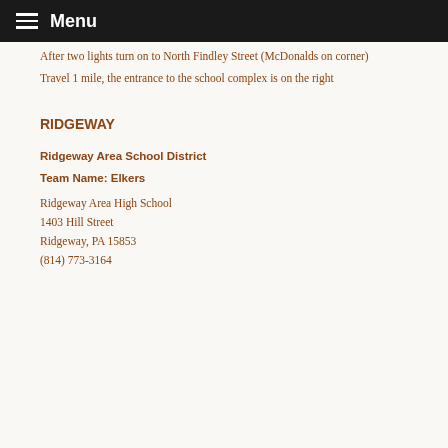Menu
After two lights turn on to North Findley Street (McDonalds on corner)
Travel 1 mile, the entrance to the school complex is on the right
RIDGEWAY
Ridgeway Area School District
Team Name: Elkers
Ridgeway Area High School
1403 Hill Street
Ridgeway, PA 15853
(814) 773-3164